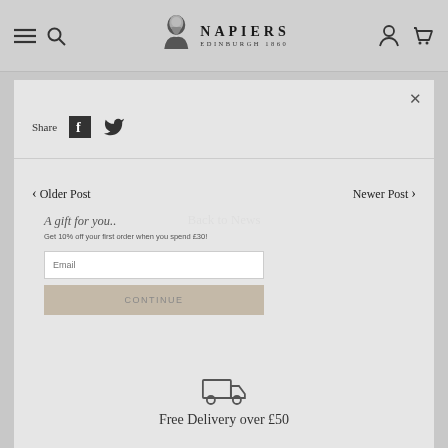NAPIERS EDINBURGH 1860
Share
< Older Post    Back to News    Newer Post >
A gift for you..
Get 10% off your first order when you spend £30!
Free Delivery over £50